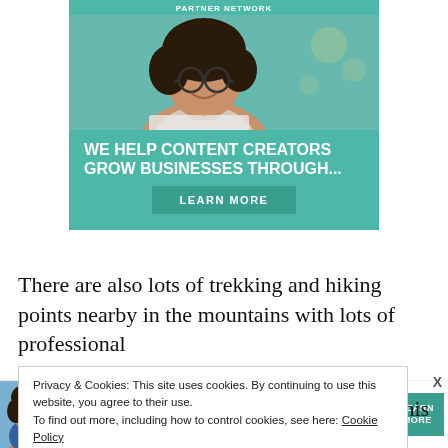[Figure (screenshot): SHE Partner Network advertisement banner showing a smiling woman with glasses using a laptop, with teal background, headline 'WE HELP CONTENT CREATORS GROW BUSINESSES THROUGH...' and a 'LEARN MORE' button]
There are also lots of trekking and hiking points nearby in the mountains with lots of professional [guides and] [facilities].  Near this [fort,] [Book your]
Privacy & Cookies: This site uses cookies. By continuing to use this website, you agree to their use.
To find out more, including how to control cookies, see here: Cookie Policy
[Figure (screenshot): SHE Partner Network bottom advertisement banner with person photo, bullet points 'Earning site & social revenue' and 'Traffic growth', SHE logo, and LEARN MORE button]